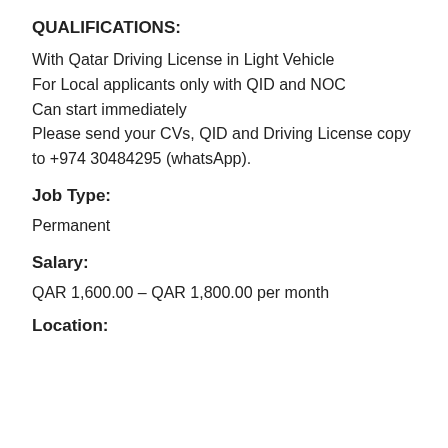QUALIFICATIONS:
With Qatar Driving License in Light Vehicle
For Local applicants only with QID and NOC
Can start immediately
Please send your CVs, QID and Driving License copy to +974 30484295 (whatsApp).
Job Type:
Permanent
Salary:
QAR 1,600.00 – QAR 1,800.00 per month
Location: